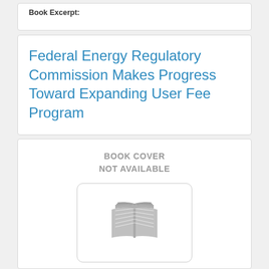Book Excerpt:
Federal Energy Regulatory Commission Makes Progress Toward Expanding User Fee Program
[Figure (illustration): Placeholder book cover image showing a grey open book icon with text 'BOOK COVER NOT AVAILABLE' above it, inside a rounded rectangle border]